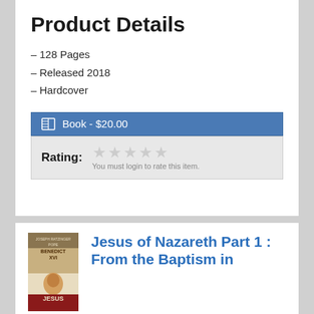Product Details
– 128 Pages
– Released 2018
– Hardcover
Book - $20.00
Rating: ★★★★★ You must login to rate this item.
[Figure (photo): Book cover of Jesus of Nazareth by Pope Benedict XVI / Joseph Ratzinger]
Jesus of Nazareth Part 1 : From the Baptism in